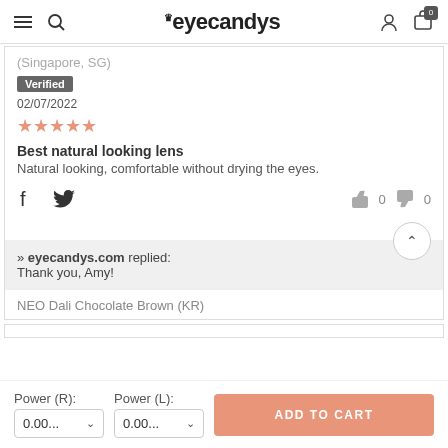eyecandys
(Singapore, SG)
Verified
02/07/2022
★★★★★
Best natural looking lens
Natural looking, comfortable without drying the eyes.
>> eyecandys.com replied:
Thank you, Amy!
NEO Dali Chocolate Brown (KR)
Power (R): 0.00...
Power (L): 0.00...
ADD TO CART